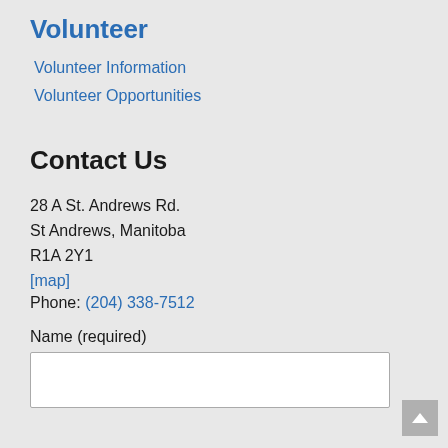Volunteer
Volunteer Information
Volunteer Opportunities
Contact Us
28 A St. Andrews Rd.
St Andrews, Manitoba
R1A 2Y1
[map]
Phone: (204) 338-7512
Name (required)